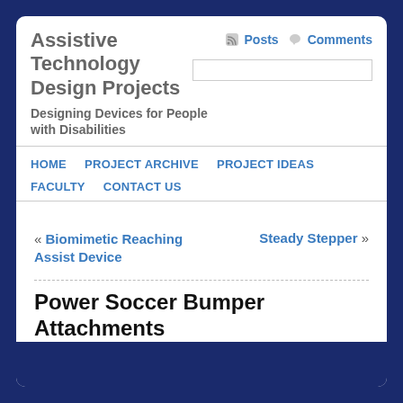Assistive Technology Design Projects
Designing Devices for People with Disabilities
Posts   Comments
HOME   PROJECT ARCHIVE   PROJECT IDEAS   FACULTY   CONTACT US
« Biomimetic Reaching Assist Device   Steady Stepper »
Power Soccer Bumper Attachments